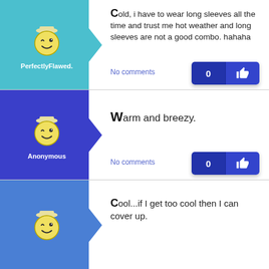[Figure (illustration): Teal background avatar with winking smiley face wearing a hat, arrow pointing right, username PerfectlyFlawed.]
Cold, i have to wear long sleeves all the time and trust me hot weather and long sleeves are not a good combo. hahaha
No comments
[Figure (illustration): Purple background avatar with winking smiley face wearing a hat, arrow pointing right, username Anonymous.]
Warm and breezy.
No comments
[Figure (illustration): Blue background avatar with winking smiley face wearing a hat, arrow pointing right, partial post.]
Cool...if I get too cool then I can cover up.